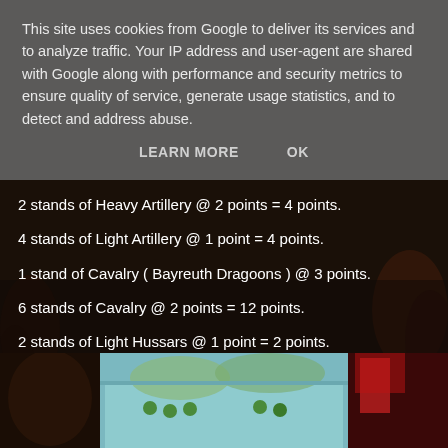This site uses cookies from Google to deliver its services and to analyze traffic. Your IP address and user-agent are shared with Google along with performance and security metrics to ensure quality of service, generate usage statistics, and to detect and address abuse.
LEARN MORE   OK
2 stands of Heavy Artillery @ 2 points = 4 points.
4 stands of Light Artillery @ 1 point = 4 points.
1 stand of Cavalry ( Bayreuth Dragoons ) @ 3 points.
6 stands of Cavalry @ 2 points = 12 points.
2 stands of Light Hussars @ 1 point = 2 points.
Here are the Armies laid out;
[Figure (photo): Photo of miniature wargame armies laid out on a table with a painted backdrop]